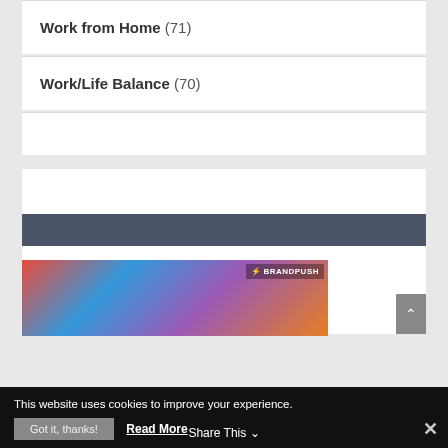Work from Home (71)
Work/Life Balance (70)
[Figure (photo): BrandPush advertisement banner with a smiling woman wearing glasses in front of a colorful graffiti background, with BRANDPUSH logo in top right corner]
This website uses cookies to improve your experience.
Got it, thanks!   Read More
Share This